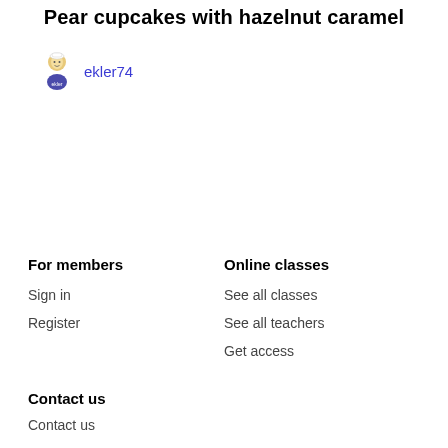Pear cupcakes with hazelnut caramel
ekler74
For members
Sign in
Register
Online classes
See all classes
See all teachers
Get access
Contact us
Contact us